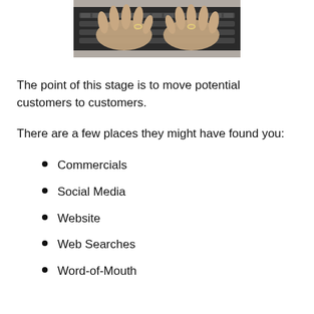[Figure (photo): Photo of two hands typing on a laptop keyboard, viewed from above. The person is wearing rings.]
The point of this stage is to move potential customers to customers.
There are a few places they might have found you:
Commercials
Social Media
Website
Web Searches
Word-of-Mouth